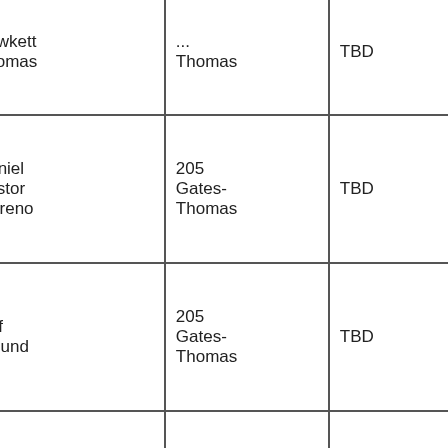| Role | Name | Room | Status |
| --- | --- | --- | --- |
| Teach Asst. | Bowkett Thomas | ... | TBD |
| Teach Asst. | Daniel Pastor Moreno | 205 Gates-Thomas | TBD |
| Teach Asst. | Jeff Edlund | 205 Gates-Thomas | TBD |
| Teach Asst. | Ellen Feldman | 205 Gates-Thomas | TBD |
|  | Luke | 205 |  |